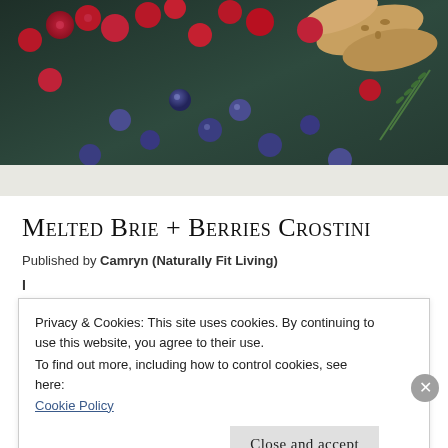[Figure (photo): Food photography showing crostini topped with melted brie and mixed berries (raspberries and blueberries) on a dark slate background with rosemary garnish]
Melted Brie + Berries Crostini
Published by Camryn (Naturally Fit Living)
Privacy & Cookies: This site uses cookies. By continuing to use this website, you agree to their use.
To find out more, including how to control cookies, see here: Cookie Policy
Close and accept